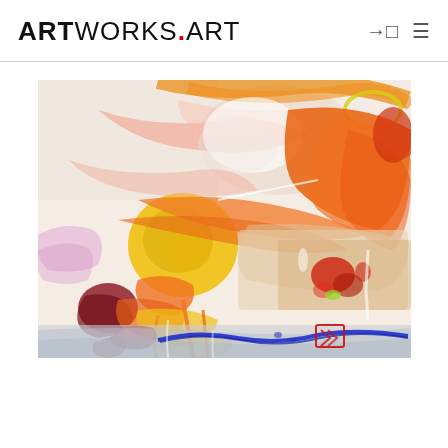ARTWORKS.ART
[Figure (illustration): Abstract expressionist painting with bold orange, yellow, pink, red, and blue brushstrokes on a light background. Features energetic gestural marks, a yellow circular form on the left, thick orange passages across the center and right, red splatters, a blue wavy line at the bottom, and a small red square signature in the lower right.]